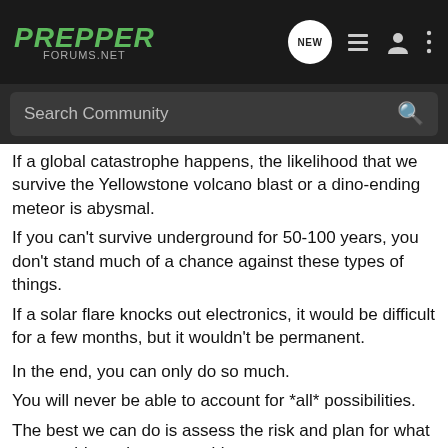PREPPER FORUMS.NET
Search Community
If a global catastrophe happens, the likelihood that we survive the Yellowstone volcano blast or a dino-ending meteor is abysmal.
If you can't survive underground for 50-100 years, you don't stand much of a chance against these types of things.
If a solar flare knocks out electronics, it would be difficult for a few months, but it wouldn't be permanent.
In the end, you can only do so much.
You will never be able to account for *all* possibilities.
The best we can do is assess the risk and plan for what we consider to be reasonable.
My plan does not make sense for everyone, and theirs don't always [...]
My inter[...] eople.
[Figure (advertisement): TRUGLO advertisement showing TRU-TEC MICRO red dot sight on a firearm. Left side shows TRUGLO logo in green with tagline WHEN BRIGHTNESS COUNTS. Right side shows TRU-TEC MICRO text with SUB-COMPACT OPEN RED-DOT sub-text.]